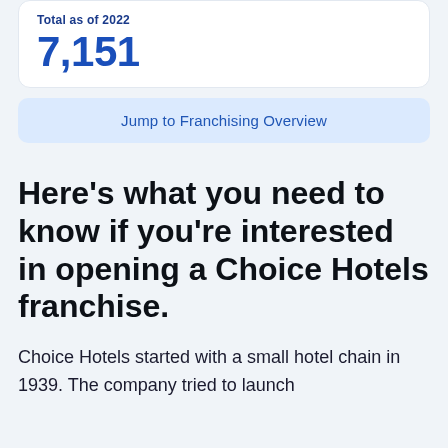7,151
Jump to Franchising Overview
Here's what you need to know if you're interested in opening a Choice Hotels franchise.
Choice Hotels started with a small hotel chain in 1939. The company tried to launch